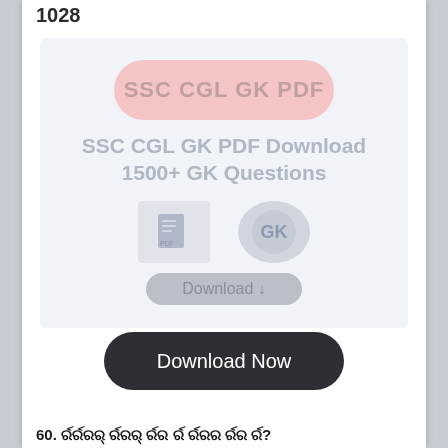1028
[Figure (infographic): SSC CGL GK PDF Download promotional banner with pill-shaped logo, title 'SSC CGL GK PDF Download 1500+ GK Questions', app icons and a Download button]
Download Now
60. ର୍ରର୍ରରର୍ ର୍ରରର୍ ର୍ରର ର୍ର ର୍ରରର ର୍ରର ର୍ର?